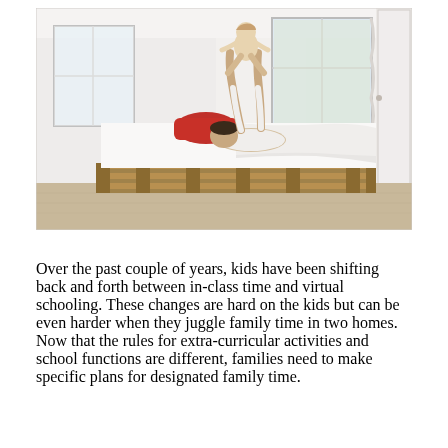[Figure (photo): Indoor bedroom scene with a person lying on a low pallet bed, lifting a child up in the air with both arms. The room has white walls, large windows letting in bright light, white bedding, a red pillow, and the bed frame is made of wooden pallets.]
Over the past couple of years, kids have been shifting back and forth between in-class time and virtual schooling. These changes are hard on the kids but can be even harder when they juggle family time in two homes. Now that the rules for extra-curricular activities and school functions are different, families need to make specific plans for designated family time.